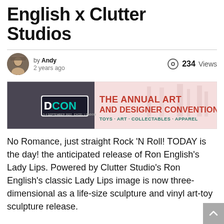English x Clutter Studios
by Andy
2 years ago    234 Views
[Figure (illustration): DCon banner: The Annual Art and Designer Convention - Toys, Art, Collectables, Apparel. 3-4 September 2022 - Excel London]
No Romance, just straight Rock 'N Roll! TODAY is the day! the anticipated release of Ron English's Lady Lips. Powered by Clutter Studio's Ron English's classic Lady Lips image is now three-dimensional as a life-size sculpture and vinyl art-toy sculpture release.